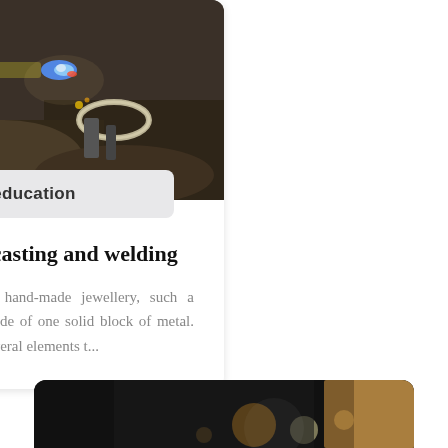[Figure (photo): Close-up of a jewellery soldering torch with blue flame heating a metal ring, positioned over dark rocky surface. Brass-colored torch nozzle visible.]
éducation
Soldering, casting and welding
When we look at hand-made jewellery, such a product is rarely made of one solid block of metal. Usually there are several elements t...
[Figure (photo): Partial view of a person with blonde hair against a dark background with bokeh lights, bottom of page.]